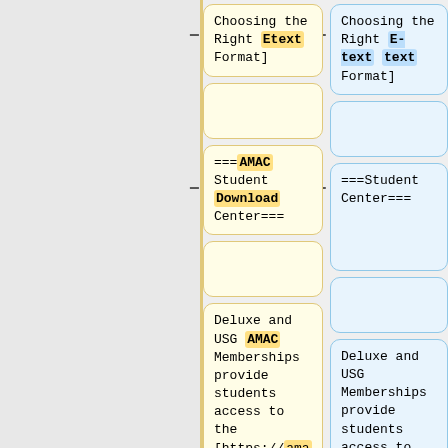Choosing the Right Etext Format]
Choosing the Right E-text text Format]
===AMAC Student Download Center===
===Student Center===
Deluxe and USG AMAC Memberships provide students access to the [https://amacusg.org/stu
Deluxe and USG Memberships provide students access to the [https://cidi.gatech/stu